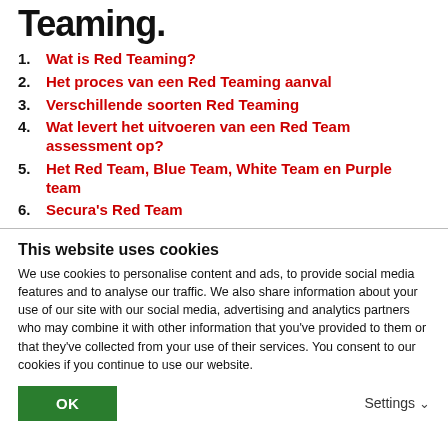Teaming.
1. Wat is Red Teaming?
2. Het proces van een Red Teaming aanval
3. Verschillende soorten Red Teaming
4. Wat levert het uitvoeren van een Red Team assessment op?
5. Het Red Team, Blue Team, White Team en Purple team
6. Secura's Red Team
This website uses cookies
We use cookies to personalise content and ads, to provide social media features and to analyse our traffic. We also share information about your use of our site with our social media, advertising and analytics partners who may combine it with other information that you've provided to them or that they've collected from your use of their services. You consent to our cookies if you continue to use our website.
OK    Settings